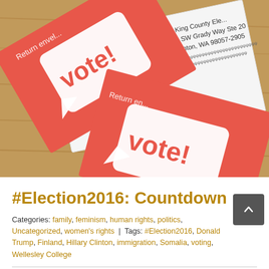[Figure (photo): Photo of red 'vote!' return envelopes from King County Elections on a wooden surface. Envelopes show address: 919 SW Grady Way Ste 20, Renton, WA 98057-2905. A handwritten return address is partially visible.]
#Election2016: Countdown
Categories: family, feminism, human rights, politics, Uncategorized, women's rights | Tags: #Election2016, Donald Trump, Finland, Hillary Clinton, immigration, Somalia, voting, Wellesley College
It has never, ever felt so good to seal and